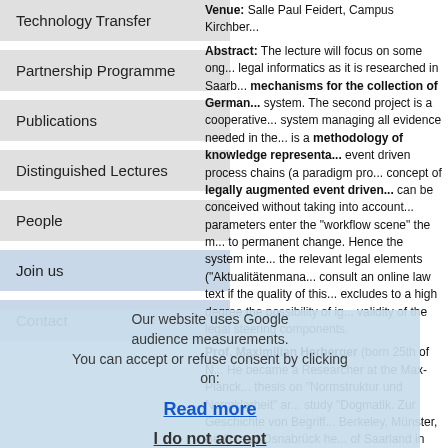Technology Transfer
Partnership Programme
Publications
Distinguished Lectures
People
Join us
Contact
Our website uses Google audience measurements. You can accept or refuse consent by clicking on: Read more | I do not accept
Venue: Salle Paul Feidert, Campus Kirchber...
Abstract: The lecture will focus on some ongoing research in legal informatics as it is researched in Saarb... mechanisms for the collection of German... system. The second project is a cooperative... system managing all evidence needed in the... is a methodology of knowledge representa... event driven process chains (a paradigm pro... concept of legally augmented event driven... can be conceived without taking into account... parameters enter the "workflow scene" the m... to permanent change. Hence the system inte... the relevant legal elements ("Aktualitätenmana... consult an online law text if the quality of this... excludes to a high degree the possibility of ig... validity of the legal steering components.
Prof. Maximilian Herberger (born 25th of N... He became a Researcher at the Max-Planck... thesis on "Normstruktur und Normklarheit" ar... study "Dogmatik. Zur Geschichte von Begriff... Berkeley, Münster, Berlin and Osnabrück he... of Saarland in 1988. He has been the Directo... (http://rechtsinformatik.jura.uni-sb.de). A cor... based portal and forum for Law. Co-operatio... (Bundesverfassungsgericht), the Court of Jus... system juris. Since its foundation, he has bee... Computing in the Judiciary. Professor Herbe... (http://www.jurpc.de), and is active in lectur...